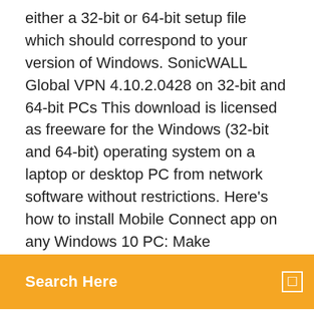either a 32-bit or 64-bit setup file which should correspond to your version of Windows. SonicWALL Global VPN 4.10.2.0428 on 32-bit and 64-bit PCs This download is licensed as freeware for the Windows (32-bit and 64-bit) operating system on a laptop or desktop PC from network software without restrictions. Here's how to install Mobile Connect app on any Windows 10 PC: Make
Search Here
Mode. SonicWALL Global VPN 4.10.2.0428 free download, safe, secure and tested for viruses and malware by LO4D. SonicWALL Global VPN for Windows 32-bit/64-bit (latest version 2021).
9 Oct 2020 SonicWALL Global VPN is a tool used to connect to corporate networks securely. That is why Windows 10 / Windows 8 / Windows 7. Author:. 1 мар 2014 Скачайте это приложение из Microsoft Store для Windows 10, Windows 10 Mobile, Windows Phone 8.1, Windows 10 Team (Surface Hub),